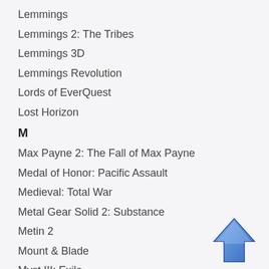Lemmings
Lemmings 2: The Tribes
Lemmings 3D
Lemmings Revolution
Lords of EverQuest
Lost Horizon
M
Max Payne 2: The Fall of Max Payne
Medal of Honor: Pacific Assault
Medieval: Total War
Metal Gear Solid 2: Substance
Metin 2
Mount & Blade
Myst III: Exile
Myst IV: Revelation
Myst Online: URU Live
[Figure (illustration): Blue upward-pointing arrow button icon in the bottom-right corner]